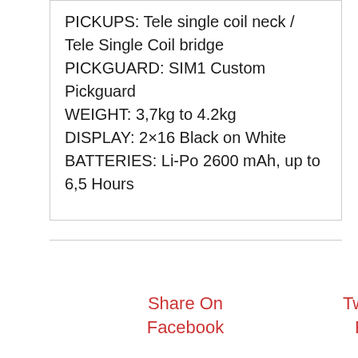PICKUPS: Tele single coil neck / Tele Single Coil bridge
PICKGUARD: SIM1 Custom Pickguard
WEIGHT: 3,7kg to 4.2kg
DISPLAY: 2×16 Black on White
BATTERIES: Li-Po 2600 mAh, up to 6,5 Hours
Share On Facebook
Tweet This Product
Pin This Product
Email This Product